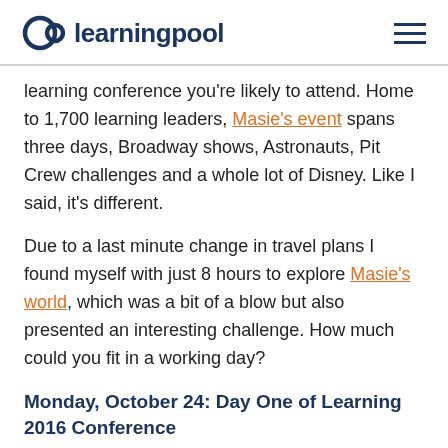learningpool
learning conference you're likely to attend. Home to 1,700 learning leaders, Masie's event spans three days, Broadway shows, Astronauts, Pit Crew challenges and a whole lot of Disney. Like I said, it's different.
Due to a last minute change in travel plans I found myself with just 8 hours to explore Masie's world, which was a bit of a blow but also presented an interesting challenge. How much could you fit in a working day?
Monday, October 24: Day One of Learning 2016 Conference
The benefit of holding your conference in a hotel complex is that everyone is hanging out and you can start and end things by conversation. The bad thing about this is...